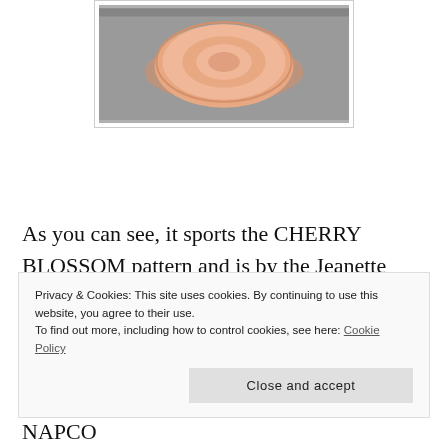[Figure (photo): A pink depression glass dish with Cherry Blossom pattern, shown from above on a grey background. The dish appears to be a saucer or plate with floral moulding around the edges.]
As you can see, it sports the CHERRY BLOSSOM pattern and is by the Jeanette Glass Company.  It was made from 1930 to 1939 and can be found in my Etsy
Privacy & Cookies: This site uses cookies. By continuing to use this website, you agree to their use.
To find out more, including how to control cookies, see here: Cookie Policy
Close and accept
saucer set that fits in this area is this one by NAPCO